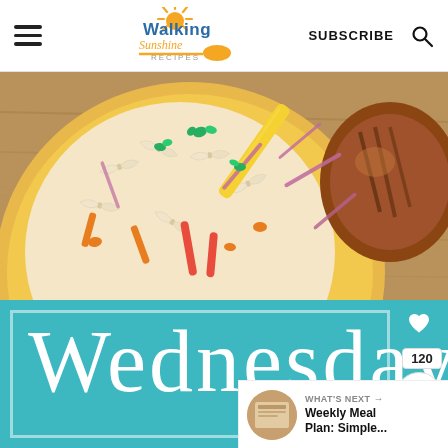Walking Sunshine Recipes — SUBSCRIBE
[Figure (photo): Top-down photo of a yellow bowl with bowtie pasta salad with colorful bell peppers, red onions, carrots, and herbs, alongside a grilled meat piece on a wooden table]
Wednesday
WHAT'S NEXT → Weekly Meal Plan: Simple...